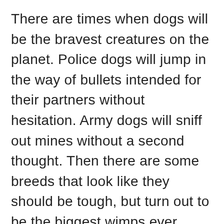There are times when dogs will be the bravest creatures on the planet. Police dogs will jump in the way of bullets intended for their partners without hesitation. Army dogs will sniff out mines without a second thought. Then there are some breeds that look like they should be tough, but turn out to be the biggest wimps ever. Take a look at the pooch that we see in this video who is crying over the silliest thing.